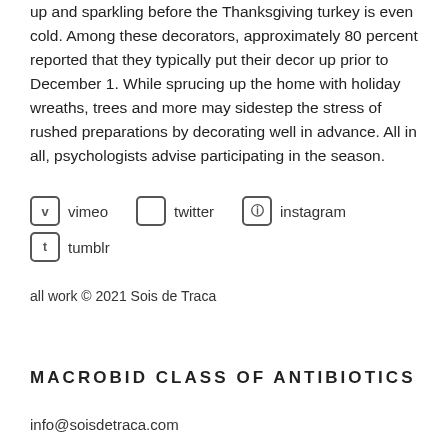up and sparkling before the Thanksgiving turkey is even cold. Among these decorators, approximately 80 percent reported that they typically put their decor up prior to December 1. While sprucing up the home with holiday wreaths, trees and more may sidestep the stress of rushed preparations by decorating well in advance. All in all, psychologists advise participating in the season.
vimeo   twitter   instagram   tumblr
all work © 2021 Sois de Traca
MACROBID CLASS OF ANTIBIOTICS
info@soisdetraca.com